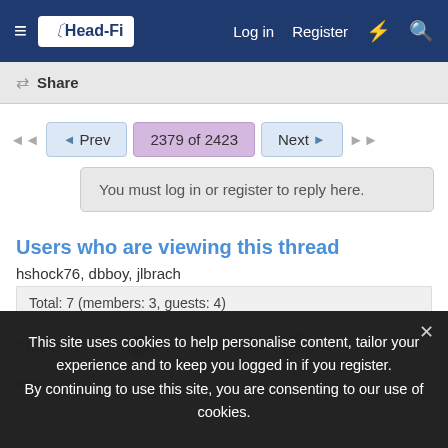Head-Fi — Log in  Register
Share
◄  ◄ Prev  2379 of 2423  Next ►  ►►
You must log in or register to reply here.
Users who are viewing this thread
hshock76, dbboy, jlbrach
Total: 7 (members: 3, guests: 4)
Share:
This site uses cookies to help personalise content, tailor your experience and to keep you logged in if you register. By continuing to use this site, you are consenting to our use of cookies.